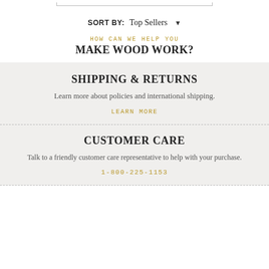SORT BY: Top Sellers ▼
HOW CAN WE HELP YOU
MAKE WOOD WORK?
SHIPPING & RETURNS
Learn more about policies and international shipping.
LEARN MORE
CUSTOMER CARE
Talk to a friendly customer care representative to help with your purchase.
1-800-225-1153